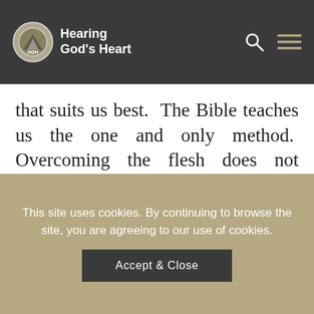Hearing God's Heart
that suits us best.  The Bible teaches us the one and only method.  Overcoming the flesh does not require a strong will, but it does require an obedient will.  Don’t whine about the power of your ‘flesh’; turn your back on it, with all the defeats and
This site uses cookies. By continuing to browse the site, you are agreeing to our use of cookies.
Accept & Close